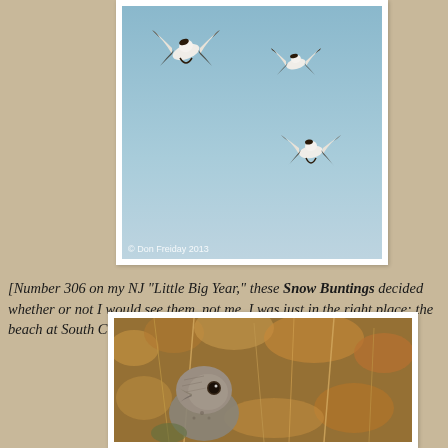[Figure (photo): Three Snow Buntings in flight against a clear blue sky. Photo credit: © Don Freiday 2013]
[Number 306 on my NJ "Little Big Year," these Snow Buntings decided whether or not I would see them, not me. I was just in the right place: the beach at South Cape May Meadows, this morning.]
[Figure (photo): Close-up of a bird (likely a juvenile or female pheasant/grouse type) among dry brown autumn vegetation]